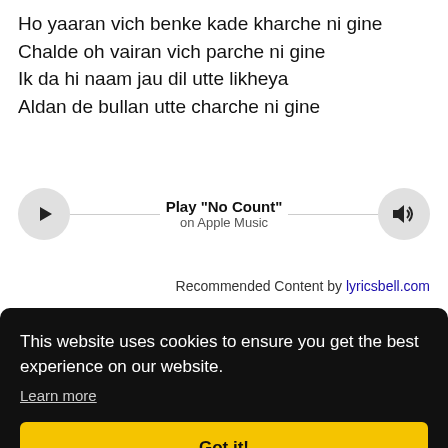Ho yaaran vich benke kade kharche ni gine
Chalde oh vairan vich parche ni gine
Ik da hi naam jau dil utte likheya
Aldan de bullan utte charche ni gine
[Figure (other): Music player bar for Play 'No Count' on Apple Music, with play button on left, volume button on right, and horizontal line connecting them]
Recommended Content by lyricsbell.com
This website uses cookies to ensure you get the best experience on our website.
Learn more
Got it!